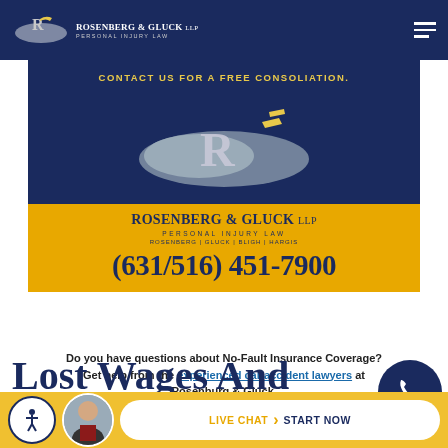[Figure (logo): Rosenberg & Gluck LLP navigation bar with logo and hamburger menu]
CONTACT US FOR A FREE CONSOLIATION.
[Figure (logo): Rosenberg & Gluck LLP banner logo on dark blue background]
ROSENBERG & GLUCK LLP
PERSONAL INJURY LAW
ROSENBERG | GLUCK | BLIGH | HARGIS
(631/516) 451-7900
Do you have questions about No-Fault Insurance Coverage? Get help from the experienced car accident lawyers at Rosenburg & Gluck.
Lost Wages And No Fault Law
[Figure (infographic): Phone icon circle button, live chat bar with lawyer photo and accessibility icon]